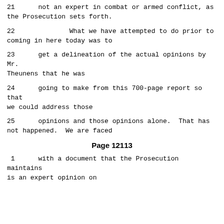21      not an expert in combat or armed conflict, as the Prosecution sets forth.
22              What we have attempted to do prior to coming in here today was to
23      get a delineation of the actual opinions by Mr. Theunens that he was
24      going to make from this 700-page report so that we could address those
25      opinions and those opinions alone.  That has not happened.  We are faced
Page 12113
1      with a document that the Prosecution maintains is an expert opinion on